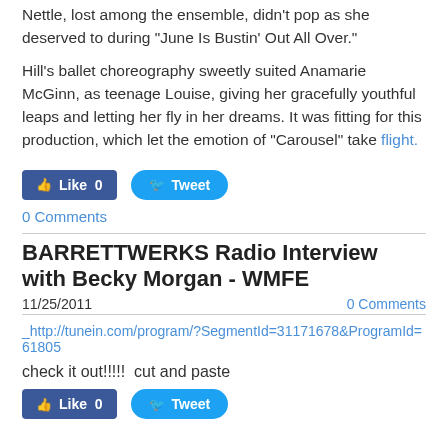Nettle, lost among the ensemble, didn't pop as she deserved to during "June Is Bustin' Out All Over."
Hill's ballet choreography sweetly suited Anamarie McGinn, as teenage Louise, giving her gracefully youthful leaps and letting her fly in her dreams. It was fitting for this production, which let the emotion of "Carousel" take flight.
[Figure (other): Facebook Like button showing 0 likes and a Twitter Tweet button]
0 Comments
BARRETTWERKS Radio Interview with Becky Morgan - WMFE
11/25/2011    0 Comments
_http://tunein.com/program/?SegmentId=31171678&ProgramId=61805
check it out!!!!!  cut and paste
[Figure (other): Facebook Like button showing 0 likes and a Twitter Tweet button (bottom)]